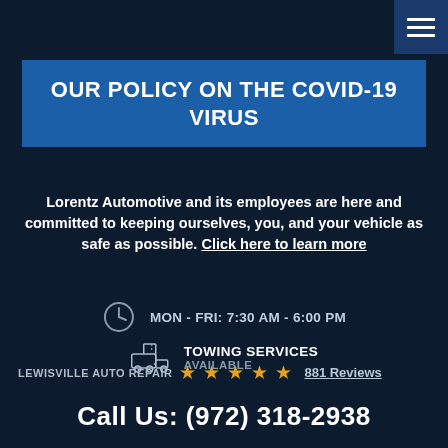OUR POLICY ON THE COVID-19 VIRUS
Lorentz Automotive and its employees are here and committed to keeping ourselves, you, and your vehicle as safe as possible. Click here to learn more
LEWISVILLE AUTO REPAIR  ★★★★★  881 Reviews
MON - FRI: 7:30 AM - 6:00 PM
TOWING SERVICES AVAILABLE
Call Us:  (972) 318-2938